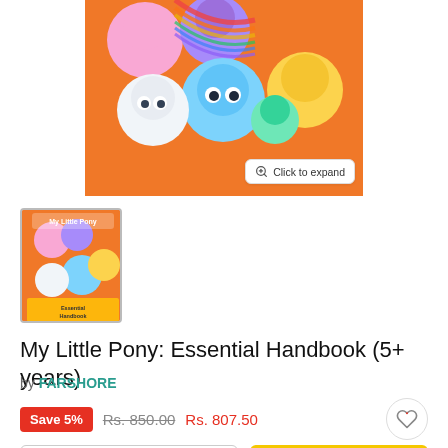[Figure (photo): My Little Pony book cover showing colorful cartoon ponies on an orange background, with a magnifier icon and 'Click to expand' button in the bottom right corner]
[Figure (photo): Thumbnail of My Little Pony: Essential Handbook book cover]
My Little Pony: Essential Handbook (5+ years)
by FARSHORE
Save 5%  Rs. 850.00  Rs. 807.50